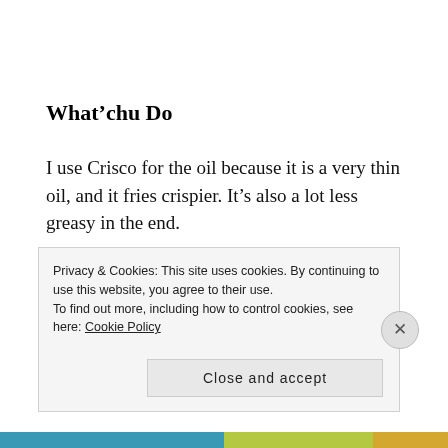What'chu Do
I use Crisco for the oil because it is a very thin oil, and it fries crispier. It's also a lot less greasy in the end.
So get out a large pan (such as a dutch oven, or a cast iron pan) and put 1 cup of Crisco in and turn it on med-
Privacy & Cookies: This site uses cookies. By continuing to use this website, you agree to their use.
To find out more, including how to control cookies, see here: Cookie Policy
Close and accept